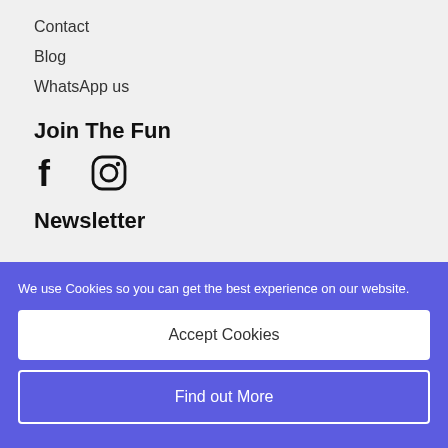Contact
Blog
WhatsApp us
Join The Fun
[Figure (illustration): Facebook and Instagram social media icons]
Newsletter
We use Cookies so you can get the best experience on our website.
Accept Cookies
Find out More